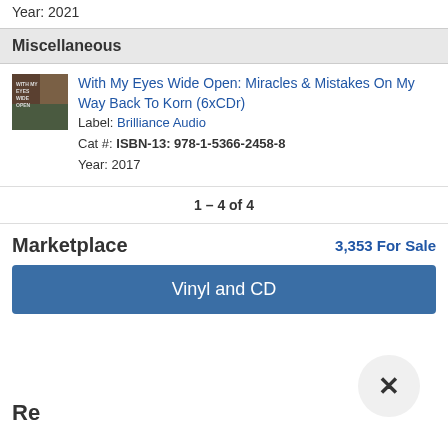Year: 2021
Miscellaneous
With My Eyes Wide Open: Miracles & Mistakes On My Way Back To Korn (6xCDr)
Label: Brilliance Audio
Cat #: ISBN-13: 978-1-5366-2458-8
Year: 2017
1 – 4 of 4
Marketplace
3,353 For Sale
Vinyl and CD